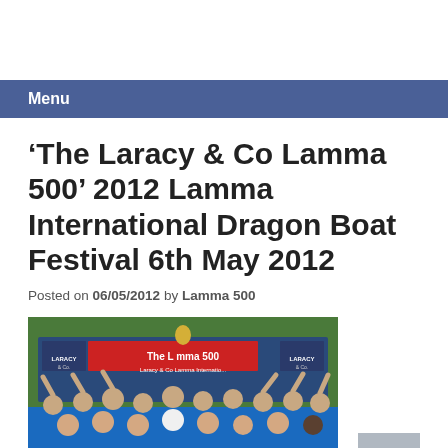Menu
‘The Laracy & Co Lamma 500’ 2012 Lamma International Dragon Boat Festival 6th May 2012
Posted on 06/05/2012 by Lamma 500
[Figure (photo): Group photo of dragon boat team members in blue uniforms celebrating with a trophy in front of a 'The Lamma 500' sponsor banner with Laracy & Co logos]